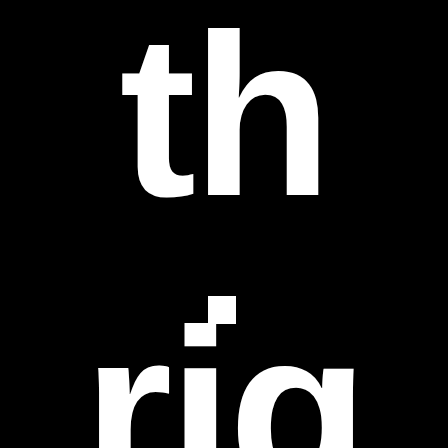[Figure (illustration): Extreme close-up of large white bold sans-serif text on black background. Top portion shows partial letters 'th' (cut off at top and sides). A small white square dot appears in the middle of the page. Bottom portion shows partial letters 'rig' (cut off at bottom and sides). The overall appearance suggests the full text reads something like 'the right' or similar, displayed at very large scale.]